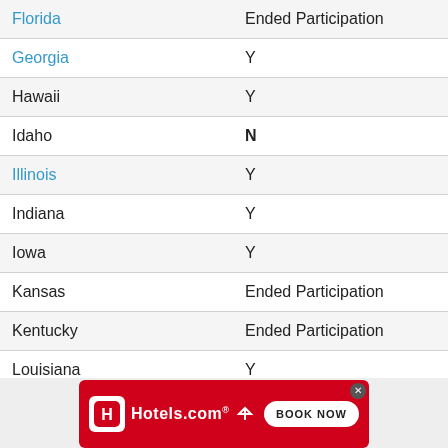| State | Participation |
| --- | --- |
| Florida | Ended Participation |
| Georgia | Y |
| Hawaii | Y |
| Idaho | N |
| Illinois | Y |
| Indiana | Y |
| Iowa | Y |
| Kansas | Ended Participation |
| Kentucky | Ended Participation |
| Louisiana | Y |
| Maine | ... |
[Figure (other): Hotels.com advertisement banner with red background, Hotels.com logo, and BOOK NOW button]